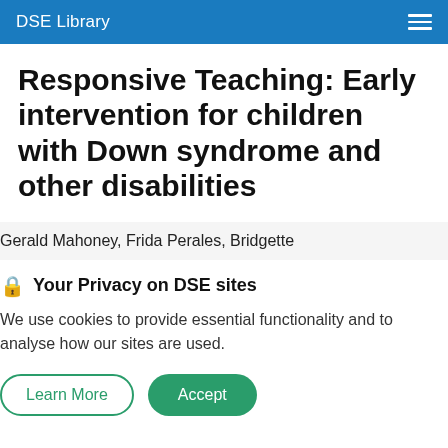DSE Library
Responsive Teaching: Early intervention for children with Down syndrome and other disabilities
Gerald Mahoney, Frida Perales, Bridgette
🔒 Your Privacy on DSE sites
We use cookies to provide essential functionality and to analyse how our sites are used.
Learn More  Accept